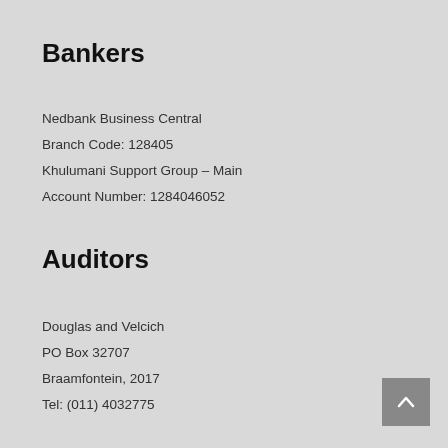Bankers
Nedbank Business Central
Branch Code: 128405
Khulumani Support Group – Main
Account Number: 1284046052
Auditors
Douglas and Velcich
PO Box 32707
Braamfontein, 2017
Tel: (011) 4032775